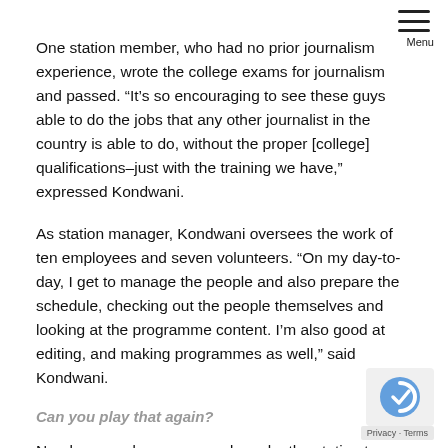One station member, who had no prior journalism experience, wrote the college exams for journalism and passed. “It’s so encouraging to see these guys able to do the jobs that any other journalist in the country is able to do, without the proper [college] qualifications–just with the training we have,” expressed Kondwani.
As station manager, Kondwani oversees the work of ten employees and seven volunteers. “On my day-to-day, I get to manage the people and also prepare the schedule, checking out the people themselves and looking at the programme content. I’m also good at editing, and making programmes as well,” said Kondwani.
Can you play that again?
Nearly every day someone drops by the station to say Menu…